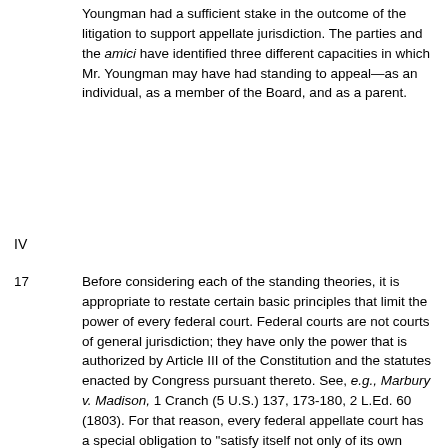Youngman had a sufficient stake in the outcome of the litigation to support appellate jurisdiction. The parties and the amici have identified three different capacities in which Mr. Youngman may have had standing to appeal—as an individual, as a member of the Board, and as a parent.
IV
17 Before considering each of the standing theories, it is appropriate to restate certain basic principles that limit the power of every federal court. Federal courts are not courts of general jurisdiction; they have only the power that is authorized by Article III of the Constitution and the statutes enacted by Congress pursuant thereto. See, e.g., Marbury v. Madison, 1 Cranch (5 U.S.) 137, 173-180, 2 L.Ed. 60 (1803). For that reason, every federal appellate court has a special obligation to "satisfy itself not only of its own jurisdiction, but also that of the lower courts in a cause under review," even though the parties are prepared to concede it. Mitchell v. Maurer, 293 U.S. 237, 244, 55 S.Ct. 162, 165, 79 L.Ed. 338 (1934). See Juidice v. Vail, 430 U.S. 327, 331-332, 97 S.Ct. 1211, 1215, 51 L.Ed.2d 376 (1977) (standing). "And if the record discloses that the lower court was without jurisdiction this court will notice the defect, although the parties make no contention concerning it. [W]hen the lower federal